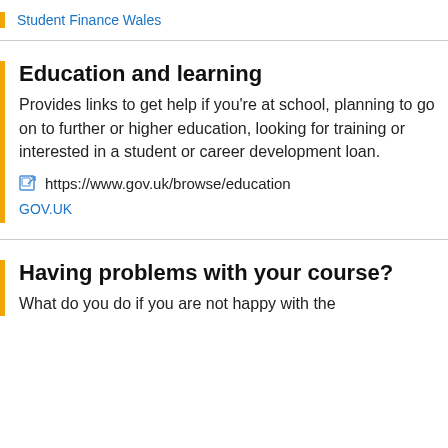Student Finance Wales
Education and learning
Provides links to get help if you're at school, planning to go on to further or higher education, looking for training or interested in a student or career development loan.
https://www.gov.uk/browse/education
GOV.UK
Having problems with your course?
What do you do if you are not happy with the